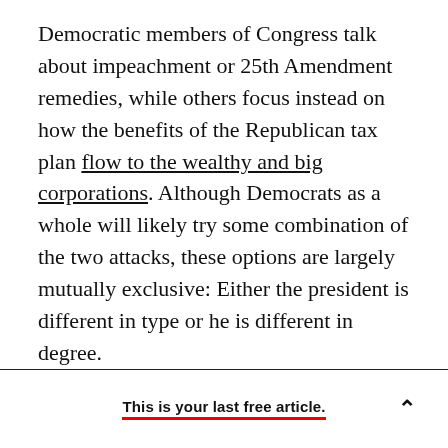Democratic members of Congress talk about impeachment or 25th Amendment remedies, while others focus instead on how the benefits of the Republican tax plan flow to the wealthy and big corporations. Although Democrats as a whole will likely try some combination of the two attacks, these options are largely mutually exclusive: Either the president is different in type or he is different in degree.
If Democrats wish to argue that Trump's essential flaw is that he has no idea what he's doing and should never have been allowed near the Oval
This is your last free article.